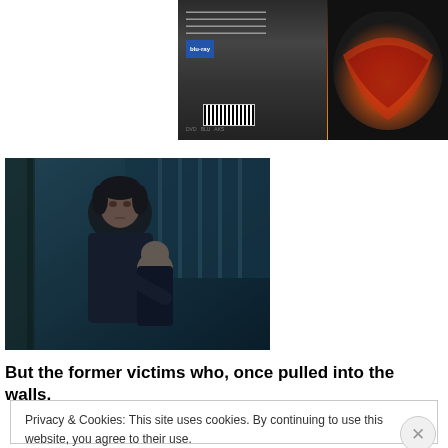[Figure (photo): DVD or movie cover artwork showing two covers side by side - left appears to be a dark DVD back cover with barcode, right shows an open mouth/scream image in orange and yellow tones]
[Figure (photo): Movie still from The Shining showing a man in a dark robe holding a child, dark teal/blue toned scene]
But the former victims who, once pulled into the walls,
Privacy & Cookies: This site uses cookies. By continuing to use this website, you agree to their use.
To find out more, including how to control cookies, see here: Cookie Policy
Close and accept